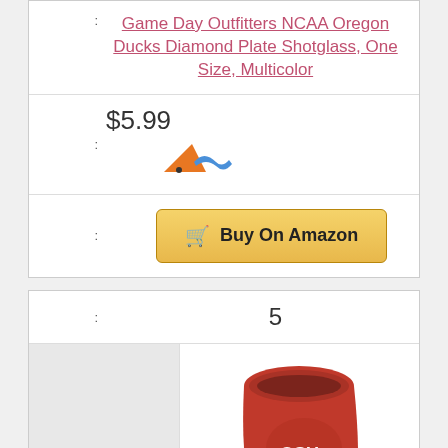: Game Day Outfitters NCAA Oregon Ducks Diamond Plate Shotglass, One Size, Multicolor
: $5.99 [seller logo]
: Buy On Amazon
: 5
[Figure (photo): Red Ohio State shot glass/cup with OSU logo at the bottom of the page]